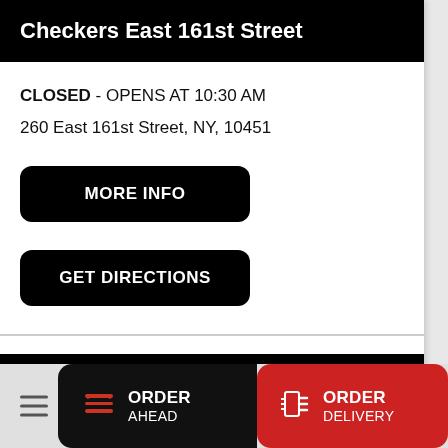Checkers East 161st Street
CLOSED - OPENS AT 10:30 AM
260 East 161st Street, NY, 10451
MORE INFO
GET DIRECTIONS
Checkers Willis Ave
ORDER AHEAD
ORDER DELIVERY